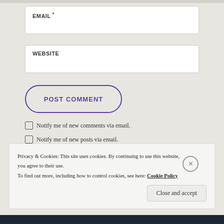[Figure (screenshot): Email input field with label EMAIL* on a light beige background]
[Figure (screenshot): Website input field with label WEBSITE on a light beige background]
[Figure (screenshot): POST COMMENT button with purple border and purple bold text]
Notify me of new comments via email.
Notify me of new posts via email.
Privacy & Cookies: This site uses cookies. By continuing to use this website, you agree to their use.
To find out more, including how to control cookies, see here: Cookie Policy
Close and accept